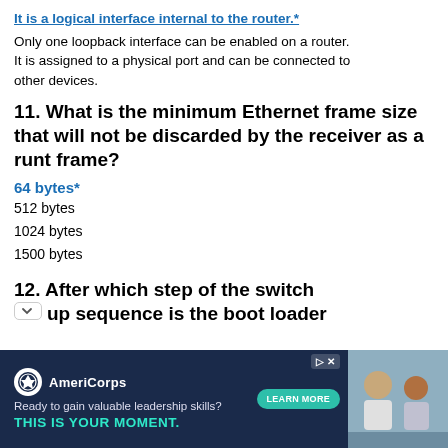It is a logical interface internal to the router.*
Only one loopback interface can be enabled on a router. It is assigned to a physical port and can be connected to other devices.
11. What is the minimum Ethernet frame size that will not be discarded by the receiver as a runt frame?
64 bytes*
512 bytes
1024 bytes
1500 bytes
12. After which step of the switch up sequence is the boot loader
[Figure (screenshot): AmeriCorps advertisement banner with dark blue background, logo, tagline 'Ready to gain valuable leadership skills?', 'THIS IS YOUR MOMENT.' CTA in teal, LEARN MORE button, and photo of people on the right.]